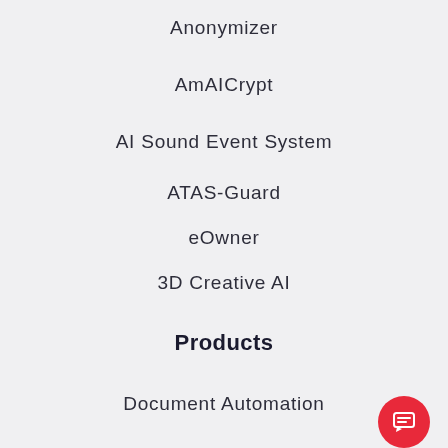Anonymizer
AmAICrypt
AI Sound Event System
ATAS-Guard
eOwner
3D Creative AI
Products
Document Automation
Action Detection